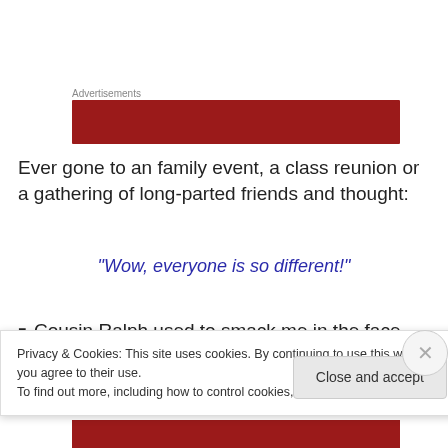Advertisements
[Figure (other): Dark red advertisement banner]
Ever gone to an family event, a class reunion or a gathering of long-parted friends and thought:
“Wow, everyone is so different!”
Cousin Ralph used to smack me in the face with his
Privacy & Cookies: This site uses cookies. By continuing to use this website, you agree to their use.
To find out more, including how to control cookies, see here: Cookie Policy
Close and accept